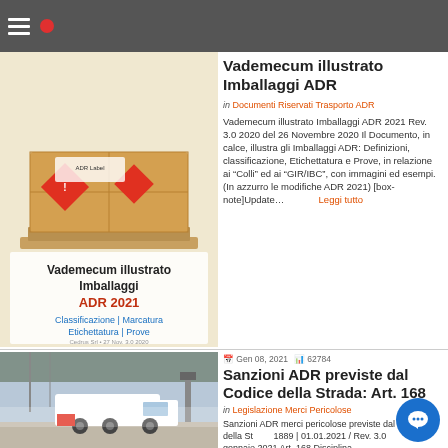Navigation bar with hamburger menu
[Figure (illustration): Cover image of Vademecum illustrato Imballaggi ADR 2021 document with pallet of boxes and hazard labels, text: Classificazione | Marcatura Etichettatura | Prove]
Vademecum illustrato Imballaggi ADR
in Documenti Riservati Trasporto ADR
Vademecum illustrato Imballaggi ADR 2021 Rev. 3.0 2020 del 26 Novembre 2020 Il Documento, in calce, illustra gli Imballaggi ADR: Definizioni, classificazione, Etichettatura e Prove, in relazione ai "Colli" ed ai "GIR/IBC", con immagini ed esempi. (In azzurro le modifiche ADR 2021) [box-note]Update… Leggi tutto
[Figure (photo): Photo of a white tanker truck at a gas station or refueling point, winter or industrial setting]
Gen 08, 2021  62784
Sanzioni ADR previste dal Codice della Strada: Art. 168
in Legislazione Merci Pericolose
Sanzioni ADR merci pericolose previste dal Codice della Strada 1889 | 01.01.2021 / Rev. 3.0 gennaio 2021 Art. 168 Disciplina d...